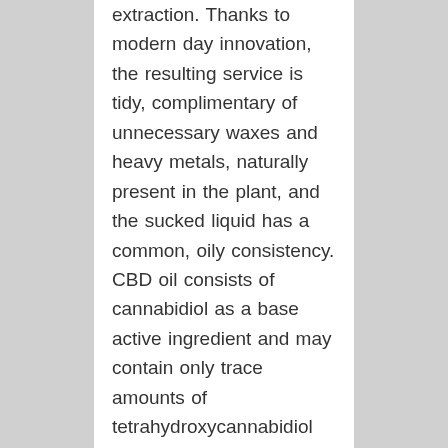extraction. Thanks to modern day innovation, the resulting service is tidy, complimentary of unnecessary waxes and heavy metals, naturally present in the plant, and the sucked liquid has a common, oily consistency. CBD oil consists of cannabidiol as a base active ingredient and may contain only trace amounts of tetrahydroxycannabidiol (THC). Works as a memory enhancer, enhancing concentration and coordination of motions, eliminating inflammation and recurrent infections. It improves the conduction of stimuli in the course of autoimmune diseases (multiple